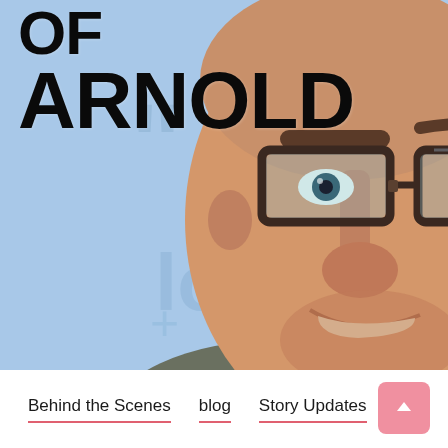[Figure (photo): Close-up photo of a smiling young man wearing dark-rimmed rectangular glasses, with text overlay reading 'OF ARNOLD' in large bold black letters on the left side over a blue background]
Behind the Scenes   blog   Story Updates
[Figure (other): Pink/salmon colored scroll-to-top button with upward arrow in bottom right corner]